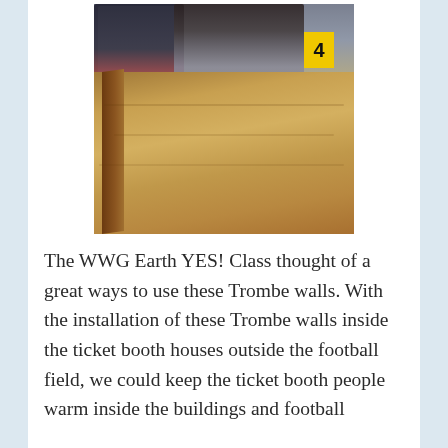[Figure (photo): Two people working on a wooden Trombe wall structure. A yellow box labeled '4' is visible in the background on the right side.]
The WWG Earth YES! Class thought of a great ways to use these Trombe walls. With the installation of these Trombe walls inside the ticket booth houses outside the football field, we could keep the ticket booth people warm inside the buildings and football